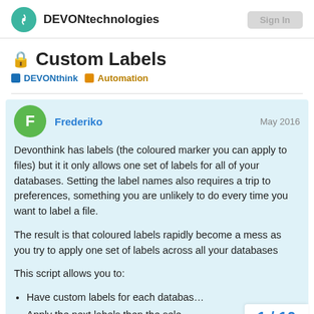DEVONtechnologies
Custom Labels
DEVONthink  Automation
Frederiko  May 2016
Devonthink has labels (the coloured marker you can apply to files) but it it only allows one set of labels for all of your databases. Setting the label names also requires a trip to preferences, something you are unlikely to do every time you want to label a file.

The result is that coloured labels rapidly become a mess as you try to apply one set of labels across all your databases

This script allows you to:
Have custom labels for each databas…
Apply the next labels then the sele…
1 / 10